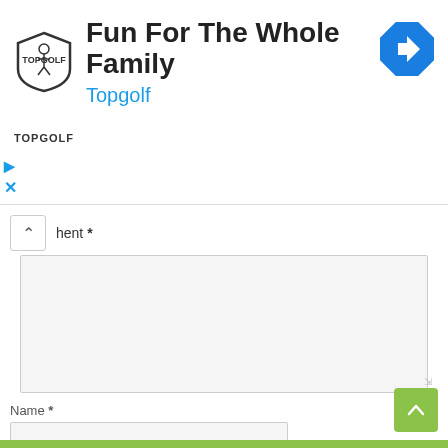[Figure (screenshot): Topgolf advertisement banner with logo, title 'Fun For The Whole Family', subtitle 'Topgolf', and a blue navigation/turn arrow icon in the top right. Play and close icons on the left.]
hent *
Name *
Email *
Website